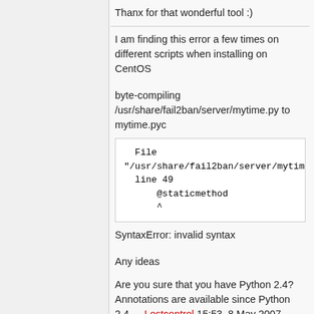Thanx for that wonderful tool :)
I am finding this error a few times on different scripts when installing on CentOS
byte-compiling /usr/share/fail2ban/server/mytime.py to mytime.pyc
File "/usr/share/fail2ban/server/mytime.
line 49
    @staticmethod
    ^
SyntaxError: invalid syntax
Any ideas
Are you sure that you have Python 2.4? Annotations are available since Python 2.4. -- Lostcontrol 15:53, 8 May 2007 (CEST)
I got 2.4.3 root@usa2 [~]# python -V Python 2.4.3